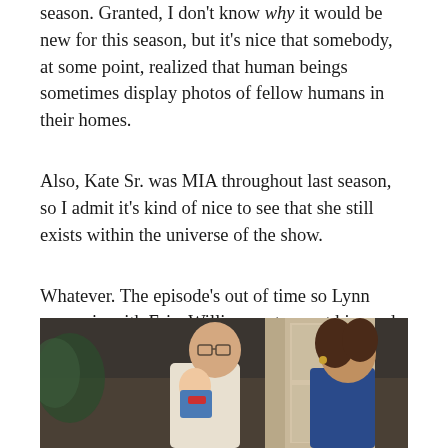season. Granted, I don't know why it would be new for this season, but it's nice that somebody, at some point, realized that human beings sometimes display photos of fellow humans in their homes.
Also, Kate Sr. was MIA throughout last season, so I admit it's kind of nice to see that she still exists within the universe of the show.
Whatever. The episode's out of time so Lynn comes in with Eric. Willie runs to greet him and, man, can't you just see the fatherly love in his eyes?
[Figure (photo): A still from a TV show scene showing a man holding a baby and looking at it, with a woman standing to the right, in what appears to be a living room set.]